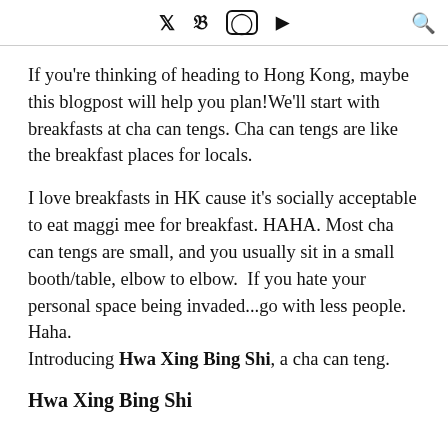Twitter Facebook Instagram YouTube Search
If you're thinking of heading to Hong Kong, maybe this blogpost will help you plan!We'll start with breakfasts at cha can tengs. Cha can tengs are like the breakfast places for locals.
I love breakfasts in HK cause it's socially acceptable to eat maggi mee for breakfast. HAHA. Most cha can tengs are small, and you usually sit in a small booth/table, elbow to elbow.  If you hate your personal space being invaded...go with less people. Haha.
Introducing Hwa Xing Bing Shi, a cha can teng.
Hwa Xing Bing Shi